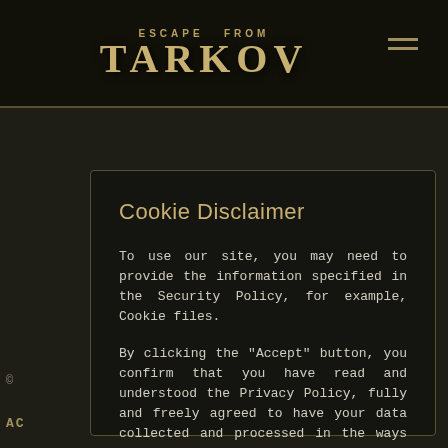[Figure (logo): Escape from Tarkov game logo with 'ESCAPE FROM' text above stylized 'TARKOV' title and a silhouetted character, plus hamburger menu icon]
Cookie Disclaimer
To use our site, you may need to provide the information specified in the Security Policy, for example, Cookie files.
By clicking the "Accept" button, you confirm that you have read and understood the Privacy Policy, fully and freely agreed to have your data collected and processed in the ways and for the purposes indicated in the Privacy Policy. Learn more.
ACCETTA